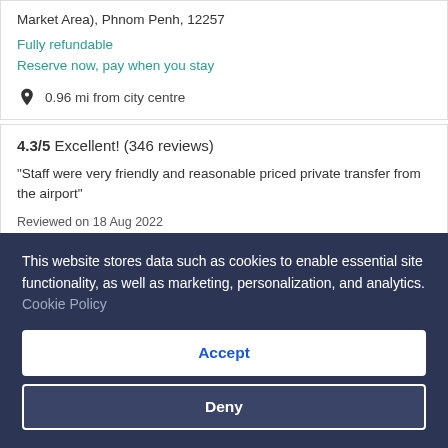Market Area), Phnom Penh, 12257
Fully refundable
Reserve now, pay when you stay
0.96 mi from city centre
4.3/5 Excellent! (346 reviews)
"Staff were very friendly and reasonable priced private transfer from the airport"
Reviewed on 18 Aug 2022
[Figure (photo): Palace Gate Hotel & Resort hotel image thumbnail (broken image placeholder)]
Palace Gate Hotel & Resort
This website stores data such as cookies to enable essential site functionality, as well as marketing, personalization, and analytics. Cookie Policy
Accept
Deny